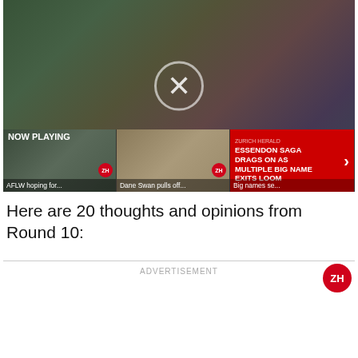[Figure (screenshot): Video player showing AFLW women seated in team uniforms on a sports field. A circular close/X button is overlaid in the center. A ZH badge is visible bottom right. Below the main video frame is a playlist bar with 'NOW PLAYING' label and three thumbnails: 'AFLW hoping for...', 'Dane Swan pulls off...', and 'Big names se...' (Essendon saga card). Navigation arrow on the right.]
Here are 20 thoughts and opinions from Round 10:
ADVERTISEMENT